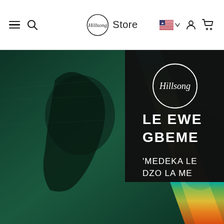Hillsong Store — navigation header with hamburger menu, search, logo, US flag selector, user icon, cart icon
[Figure (illustration): Hillsong Store album product page showing album art for 'Le Ewe Gbeme' — a dark album cover with Hillsong logo circle in white, large text 'LE EWE GBEME' and subtitle ''MEDEKA LE DZO LA ME', overlaid on a green-tinted silhouette background image with a rainbow/gradient ray of light (teal, yellow, orange) running diagonally across the image.]